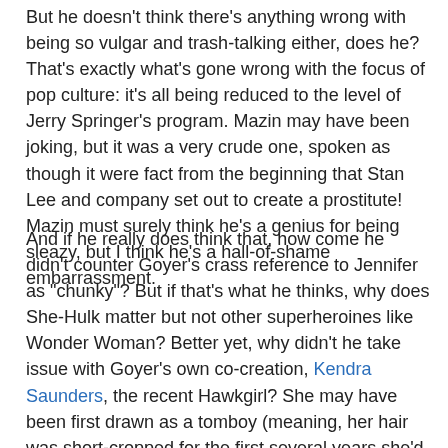But he doesn't think there's anything wrong with being so vulgar and trash-talking either, does he? That's exactly what's gone wrong with the focus of pop culture: it's all being reduced to the level of Jerry Springer's program. Mazin may have been joking, but it was a very crude one, spoken as though it were fact from the beginning that Stan Lee and company set out to create a prostitute! Mazin must surely think he's a genius for being sleazy, but I think he's a hall-of-shame embarrassment.
And if he really does think that, how come he didn't counter Goyer's crass reference to Jennifer as "chunky"? But if that's what he thinks, why does She-Hulk matter but not other superheroines like Wonder Woman? Better yet, why didn't he take issue with Goyer's own co-creation, Kendra Saunders, the recent Hawkgirl? She may have been first drawn as a tomboy (meaning, her hair was short-cropped for the first several years she'd appeared), but she could still be considered a sexpot with that bare midriff outfit drawn by Steven Sadowski. However, I don't expect Hawkgirl to be the subject of Mazin's sleazy blabber any time in the future.